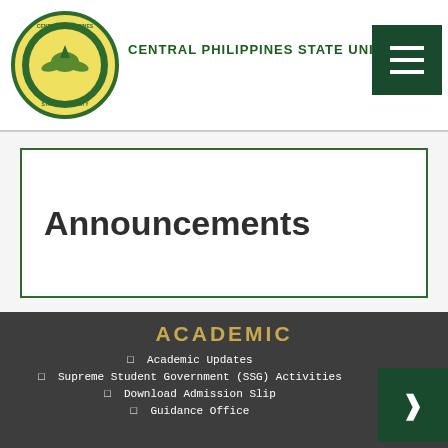CENTRAL PHILIPPINES STATE UNIVERSITY
Announcements
ACADEMIC
Academic Updates
Supreme Student Government (SSG) Activities
Download Admission Slip
Guidance Office